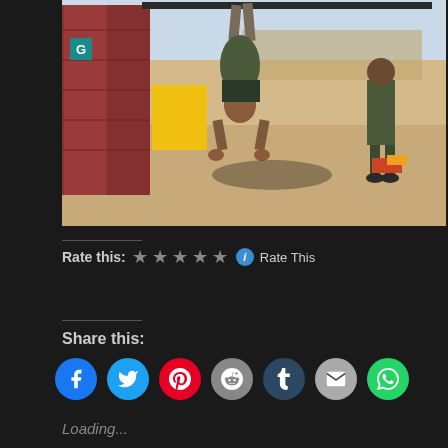[Figure (photo): Military personnel on a base, one soldier doing a handstand using a bar/beam overhead near shipping containers, another soldier standing and watching in the background. Sandy desert environment.]
Rate this: ★★★★★ ⓘ Rate This
Share this:
[Figure (infographic): Row of social share buttons: Facebook (blue), Twitter (cyan), Pinterest (red), Reddit (grey), Tumblr (dark blue), Email (grey), WhatsApp (green)]
Loading...